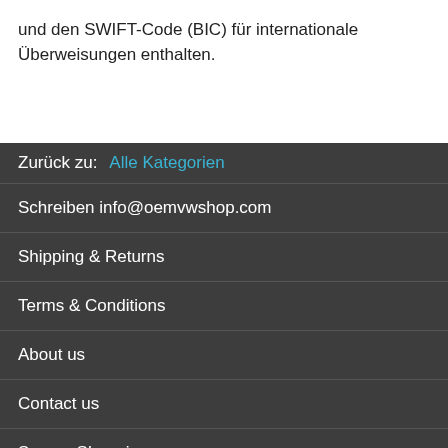und den SWIFT-Code (BIC) für internationale Überweisungen enthalten.
Zurück zu:  Alle Kategorien
Schreiben info@oemvwshop.com
Shipping & Returns
Terms & Conditions
About us
Contact us
Secure Shopping
Economy parts